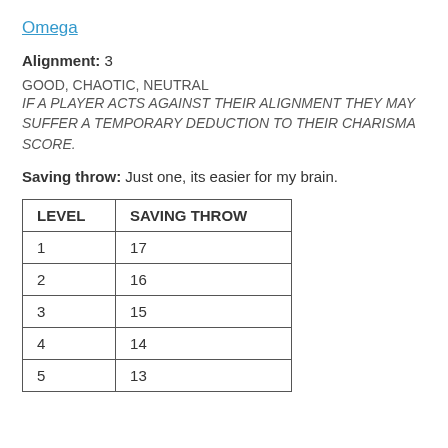Omega
Alignment:  3
GOOD, CHAOTIC, NEUTRAL
IF A PLAYER ACTS AGAINST THEIR ALIGNMENT THEY MAY SUFFER A TEMPORARY DEDUCTION TO THEIR CHARISMA SCORE.
Saving throw:  Just one, its easier for my brain.
| LEVEL | SAVING THROW |
| --- | --- |
| 1 | 17 |
| 2 | 16 |
| 3 | 15 |
| 4 | 14 |
| 5 | 13 |